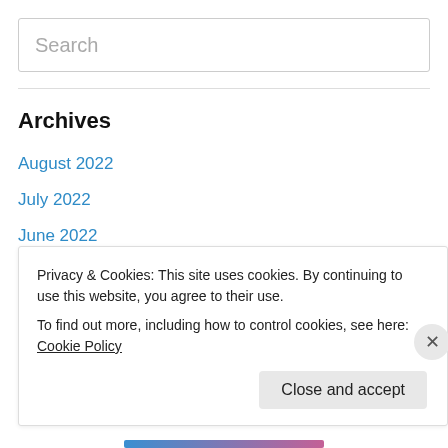Search
Archives
August 2022
July 2022
June 2022
May 2022
April 2022
February 2022
Privacy & Cookies: This site uses cookies. By continuing to use this website, you agree to their use.
To find out more, including how to control cookies, see here: Cookie Policy
Close and accept